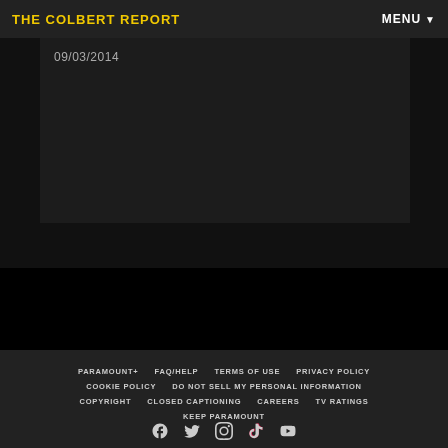THE COLBERT REPORT | MENU
09/03/2014
PARAMOUNT+ | FAQ/HELP | TERMS OF USE | PRIVACY POLICY | COOKIE POLICY | DO NOT SELL MY PERSONAL INFORMATION | COPYRIGHT | CLOSED CAPTIONING | CAREERS | TV RATINGS | KEEP PARAMOUNT